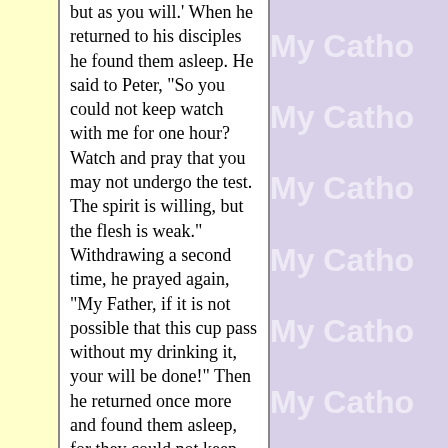but as you will.' When he returned to his disciples he found them asleep. He said to Peter, "So you could not keep watch with me for one hour? Watch and pray that you may not undergo the test. The spirit is willing, but the flesh is weak." Withdrawing a second time, he prayed again, "My Father, if it is not possible that this cup pass without my drinking it, your will be done!" Then he returned once more and found them asleep, for they could not keep their eyes open. He left them and withdrew again and prayed a third time, saying the same thing again. Then he returned to his disciples and said to them, "Are you still sleeping and
[Figure (other): Repeating 'My Catho...' watermark text on purple/lavender background, partial text visible (cropped on right side)]